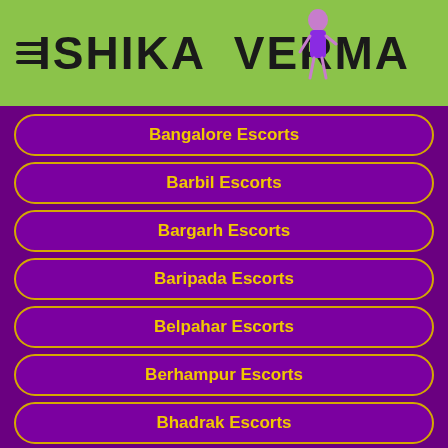ISHIKA VERMA
Barbil Escorts
Bargarh Escorts
Baripada Escorts
Belpahar Escorts
Berhampur Escorts
Bhadrak Escorts
Bhawanipatna Escorts
Bhubaneswar Escorts
Boudh Escorts
Brajarajnagar Escorts